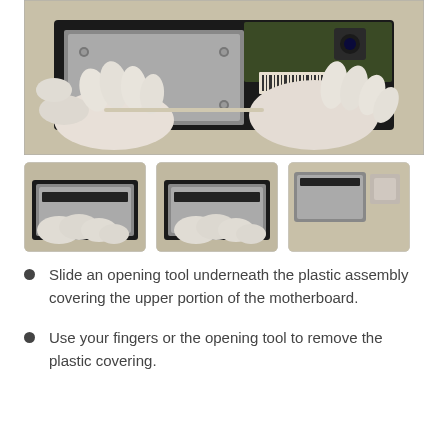[Figure (photo): Gloved hands working on a device motherboard, sliding an opening tool underneath a plastic assembly covering the upper portion of the motherboard. Electronic components and a camera module visible in the background.]
[Figure (photo): Thumbnail 1: Close-up of gloved fingers using an opening tool on the motherboard plastic assembly.]
[Figure (photo): Thumbnail 2: Close-up of gloved fingers continuing to remove the plastic covering from the motherboard.]
[Figure (photo): Thumbnail 3: The plastic covering partially or fully removed from the motherboard, showing internal components.]
Slide an opening tool underneath the plastic assembly covering the upper portion of the motherboard.
Use your fingers or the opening tool to remove the plastic covering.